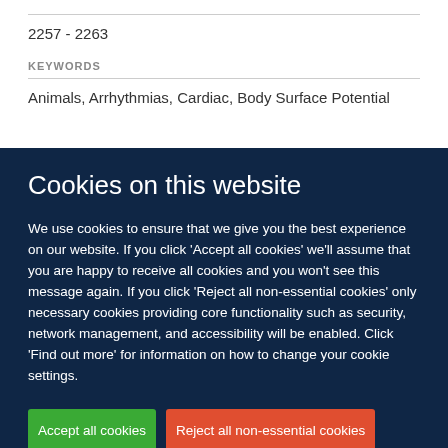2257 - 2263
KEYWORDS
Animals, Arrhythmias, Cardiac, Body Surface Potential
Cookies on this website
We use cookies to ensure that we give you the best experience on our website. If you click 'Accept all cookies' we'll assume that you are happy to receive all cookies and you won't see this message again. If you click 'Reject all non-essential cookies' only necessary cookies providing core functionality such as security, network management, and accessibility will be enabled. Click 'Find out more' for information on how to change your cookie settings.
Accept all cookies
Reject all non-essential cookies